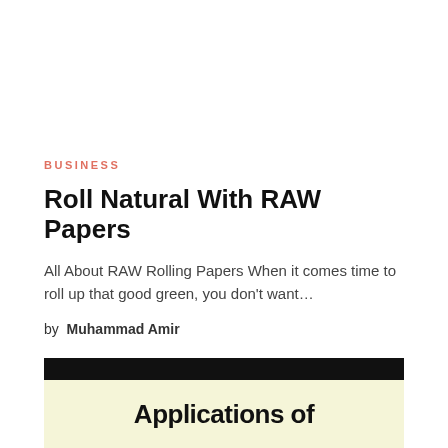BUSINESS
Roll Natural With RAW Papers
All About RAW Rolling Papers When it comes time to roll up that good green, you don't want…
by Muhammad Amir
[Figure (illustration): Preview card with black header bar and cream background showing partial text 'Applications of']